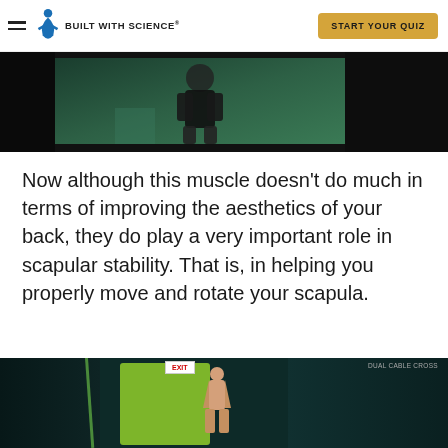Built With Science® | START YOUR QUIZ
[Figure (photo): Partial view of a person from behind in a gym setting, shown against a dark background with a teal/green inset image]
Now although this muscle doesn't do much in terms of improving the aesthetics of your back, they do play a very important role in scapular stability. That is, in helping you properly move and rotate your scapula.
[Figure (photo): Person seen from behind in a gym, facing a green cable machine, with an EXIT sign visible and gym equipment in background]